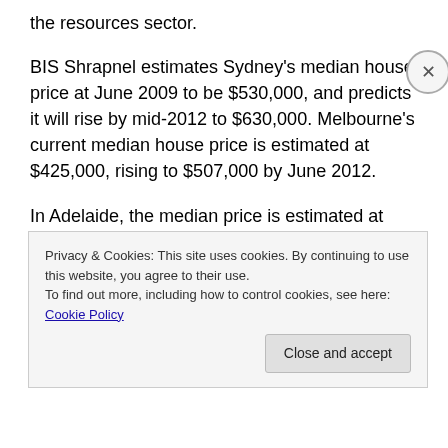the resources sector.
BIS Shrapnel estimates Sydney’s median house price at June 2009 to be $530,000, and predicts it will rise by mid-2012 to $630,000. Melbourne’s current median house price is estimated at $425,000, rising to $507,000 by June 2012.
In Adelaide, the median price is estimated at $360,000 and predicted to climb to $430,000 over the three years.
Among other cities around Australia, Newcastle and
Privacy & Cookies: This site uses cookies. By continuing to use this website, you agree to their use.
To find out more, including how to control cookies, see here: Cookie Policy